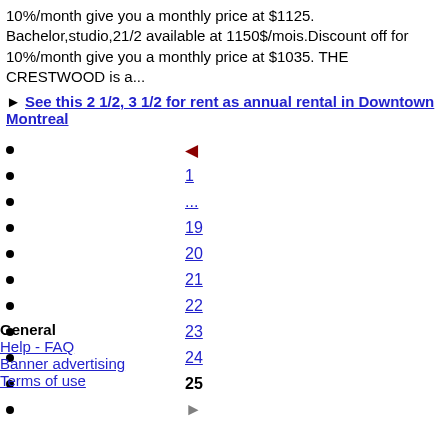10%/month give you a monthly price at $1125. Bachelor,studio,21/2 available at 1150$/mois.Discount off for 10%/month give you a monthly price at $1035. THE CRESTWOOD is a...
▶ See this 2 1/2, 3 1/2 for rent as annual rental in Downtown Montreal
◀ (previous page arrow)
1
...
19
20
21
22
23
24
25 (current)
▶ (next page arrow)
General
Help - FAQ
Banner advertising
Terms of use